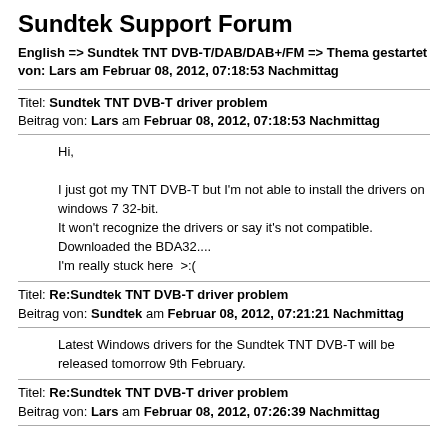Sundtek Support Forum
English => Sundtek TNT DVB-T/DAB/DAB+/FM => Thema gestartet von: Lars am Februar 08, 2012, 07:18:53 Nachmittag
Titel: Sundtek TNT DVB-T driver problem
Beitrag von: Lars am Februar 08, 2012, 07:18:53 Nachmittag
Hi,

I just got my TNT DVB-T but I'm not able to install the drivers on windows 7 32-bit.
It won't recognize the drivers or say it's not compatible.
Downloaded the BDA32....
I'm really stuck here  >:(
Titel: Re:Sundtek TNT DVB-T driver problem
Beitrag von: Sundtek am Februar 08, 2012, 07:21:21 Nachmittag
Latest Windows drivers for the Sundtek TNT DVB-T will be released tomorrow 9th February.
Titel: Re:Sundtek TNT DVB-T driver problem
Beitrag von: Lars am Februar 08, 2012, 07:26:39 Nachmittag